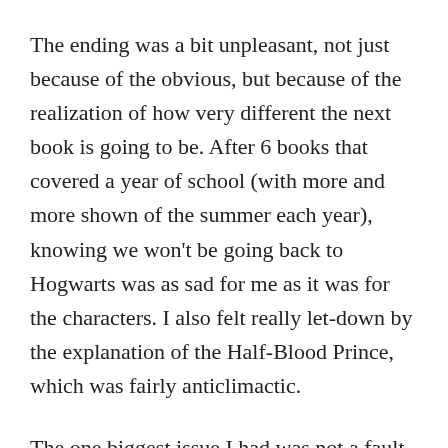The ending was a bit unpleasant, not just because of the obvious, but because of the realization of how very different the next book is going to be. After 6 books that covered a year of school (with more and more shown of the summer each year), knowing we won’t be going back to Hogwarts was as sad for me as it was for the characters. I also felt really let-down by the explanation of the Half-Blood Prince, which was fairly anticlimactic.
The one biggest issue I had was not a fault of the book’s. Back when this book first came out, my husband showed me the video of some guy driving by a bookstore yelling, “Snape kills Dumbledore!” at a crowd of people waiting in line to buy the new book, or walking way after buying it. Even though